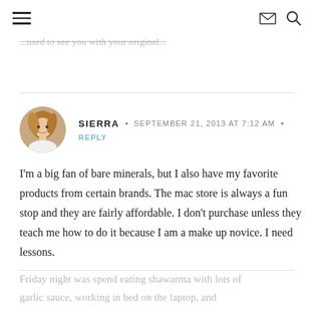[hamburger menu] [envelope icon] [search icon]
...used to see you with your original...
SIERRA • SEPTEMBER 21, 2013 AT 7:12 AM • REPLY
I'm a big fan of bare minerals, but I also have my favorite products from certain brands. The mac store is always a fun stop and they are fairly affordable. I don't purchase unless they teach me how to do it because I am a make up novice. I need lessons.
Friday night was spend eating shawarma with lots of garlic sauce, working in bed on the laptop, and